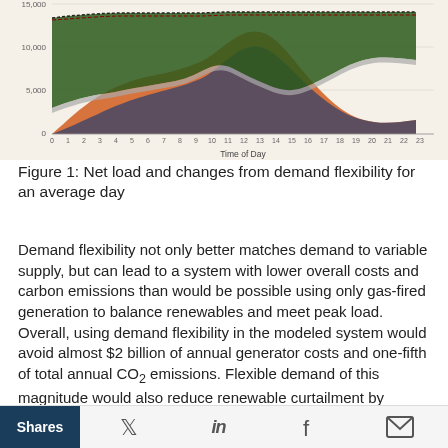[Figure (area-chart): Area chart showing net load and changes from demand flexibility over 24 hours (0-23). Multiple colored areas including orange, dark green, gray, and dark blue with dotted line on top. Y-axis shows values from 0 to above 10,000 with gridlines at 5,000 and 10,000.]
Figure 1: Net load and changes from demand flexibility for an average day
Demand flexibility not only better matches demand to variable supply, but can lead to a system with lower overall costs and carbon emissions than would be possible using only gas-fired generation to balance renewables and meet peak load. Overall, using demand flexibility in the modeled system would avoid almost $2 billion of annual generator costs and one-fifth of total annual CO₂ emissions. Flexible demand of this magnitude would also reduce renewable curtailment by
Shares  [Twitter] [LinkedIn] [Facebook] [Email]